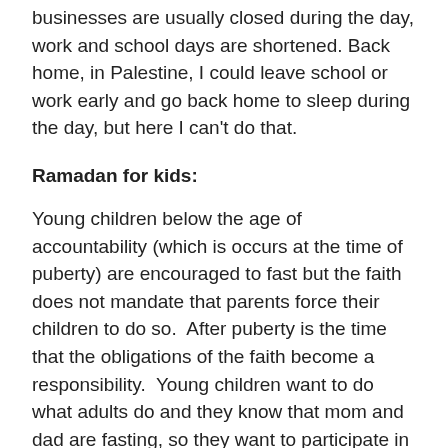businesses are usually closed during the day, work and school days are shortened. Back home, in Palestine, I could leave school or work early and go back home to sleep during the day, but here I can't do that.
Ramadan for kids:
Young children below the age of accountability (which is occurs at the time of puberty) are encouraged to fast but the faith does not mandate that parents force their children to do so.  After puberty is the time that the obligations of the faith become a responsibility.  Young children want to do what adults do and they know that mom and dad are fasting, so they want to participate in the fast and be a part of something that the adults do.